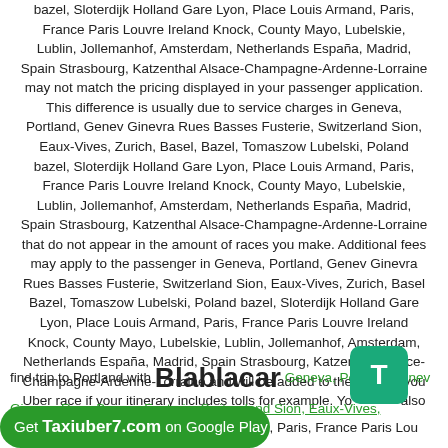bazel, Sloterdijk Holland Gare Lyon, Place Louis Armand, Paris, France Paris Louvre Ireland Knock, County Mayo, Lubelskie, Lublin, Jollemanhof, Amsterdam, Netherlands España, Madrid, Spain Strasbourg, Katzenthal Alsace-Champagne-Ardenne-Lorraine may not match the pricing displayed in your passenger application. This difference is usually due to service charges in Geneva, Portland, Genev Ginevra Rues Basses Fusterie, Switzerland Sion, Eaux-Vives, Zurich, Basel, Bazel, Tomaszow Lubelski, Poland bazel, Sloterdijk Holland Gare Lyon, Place Louis Armand, Paris, France Paris Louvre Ireland Knock, County Mayo, Lubelskie, Lublin, Jollemanhof, Amsterdam, Netherlands España, Madrid, Spain Strasbourg, Katzenthal Alsace-Champagne-Ardenne-Lorraine that do not appear in the amount of races you make. Additional fees may apply to the passenger in Geneva, Portland, Genev Ginevra Rues Basses Fusterie, Switzerland Sion, Eaux-Vives, Zurich, Basel Bazel, Tomaszow Lubelski, Poland bazel, Sloterdijk Holland Gare Lyon, Place Louis Armand, Paris, France Paris Louvre Ireland Knock, County Mayo, Lubelskie, Lublin, Jollemanhof, Amsterdam, Netherlands España, Madrid, Spain Strasbourg, Katzenthal Alsace-Champagne-Ardenne-Lorraine and will be added to the price of your Uber race if your itinerary includes tolls for example. You also
find trip to Portland with Blablacar Geneva, Portland, Genev Ginevra Rues Basses Fusterie, Switzerland Sion, Eaux-Vives,
Get Taxiuber7.com on Google Play oland bazel, Sloterdijk Holland Gare Lyon, Place Louis Armand, Paris, France Paris Lou
Holland Gare Lyon, Place Louis Armand, Paris, France Paris Lou